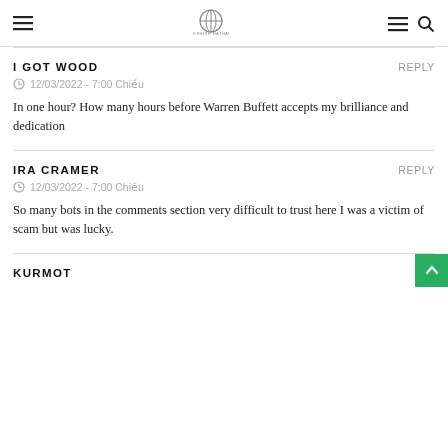≡ [logo] ≡ 🔍
I GOT WOOD
12/03/2022 - 7:00 Chiều
In one hour? How many hours before Warren Buffett accepts my brilliance and dedication
IRA CRAMER
12/03/2022 - 7:00 Chiều
So many bots in the comments section very difficult to trust here I was a victim of scam but was lucky.
KURMOT